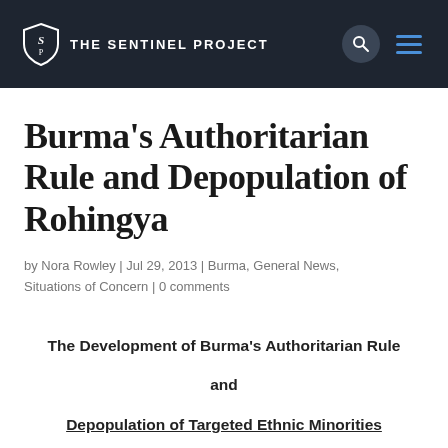THE SENTINEL PROJECT
Burma's Authoritarian Rule and Depopulation of Rohingya
by Nora Rowley | Jul 29, 2013 | Burma, General News, Situations of Concern | 0 comments
The Development of Burma's Authoritarian Rule and Depopulation of Targeted Ethnic Minorities